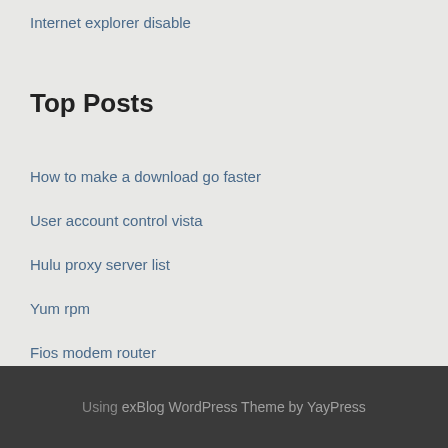Internet explorer disable
Top Posts
How to make a download go faster
User account control vista
Hulu proxy server list
Yum rpm
Fios modem router
Using exBlog WordPress Theme by YayPress